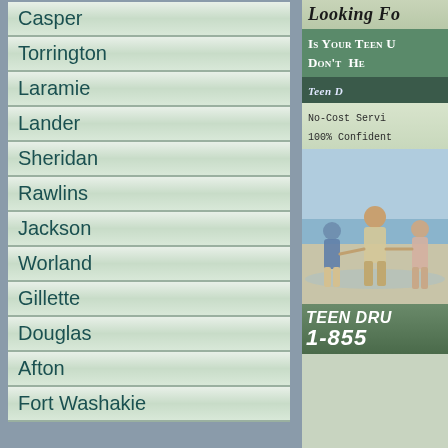Casper
Torrington
Laramie
Lander
Sheridan
Rawlins
Jackson
Worland
Gillette
Douglas
Afton
Fort Washakie
[Figure (illustration): Advertisement for Teen Drug treatment service with family photo and phone number 1-855-, text includes Looking F[or], Is Your Teen U[sing], Don't He[lp], Teen D[rug], No-Cost Servi[ce], 100% Confident[ial], Teen Dru[g], 1-855-]